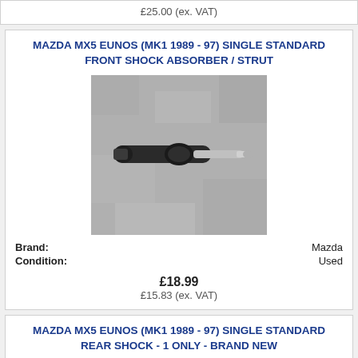£25.00 (ex. VAT)
MAZDA MX5 EUNOS (MK1 1989 - 97) SINGLE STANDARD FRONT SHOCK ABSORBER / STRUT
[Figure (photo): Photo of a used Mazda front shock absorber / strut lying on a concrete surface. The part is black with a silver rod extending from one end.]
Brand: Mazda
Condition: Used
£18.99
£15.83 (ex. VAT)
MAZDA MX5 EUNOS (MK1 1989 - 97) SINGLE STANDARD REAR SHOCK - 1 ONLY - BRAND NEW
[Figure (photo): Partial photo of a Mazda rear shock absorber, partially visible at the bottom of the page.]